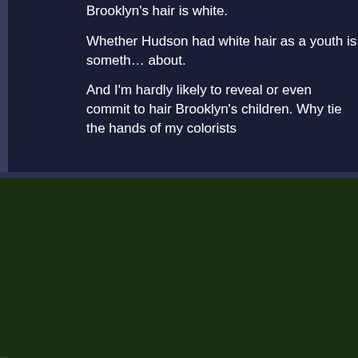Brooklyn's hair is white.
Whether Hudson had white hair as a youth is something about.
And I'm hardly likely to reveal or even commit to hair Brooklyn's children. Why tie the hands of my colorists
OCTOBER 12
This day in Gargoyles' Universe History....
October 12th...
1995
Xanatos acquires the Cauldron of Life and prepares to use a pair of Macbeth robots and a statue of Hudson. He needs hair that will match Hudson's to be used with the statue.
1996
Believing Talon, Goliath takes his shift guarding the